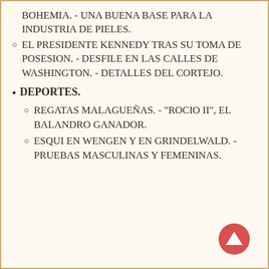BOHEMIA. - UNA BUENA BASE PARA LA INDUSTRIA DE PIELES.
EL PRESIDENTE KENNEDY TRAS SU TOMA DE POSESION. - DESFILE EN LAS CALLES DE WASHINGTON. - DETALLES DEL CORTEJO.
DEPORTES.
REGATAS MALAGUEÑAS. - "ROCIO II", EL BALANDRO GANADOR.
ESQUI EN WENGEN Y EN GRINDELWALD. - PRUEBAS MASCULINAS Y FEMENINAS.